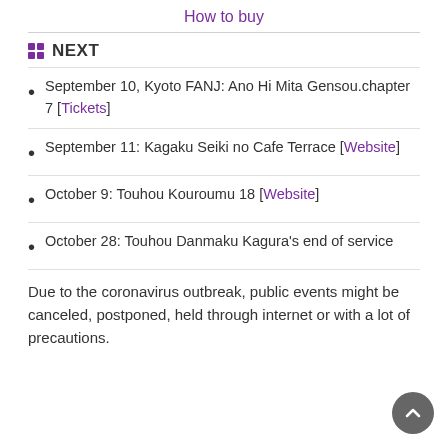How to buy
NEXT
September 10, Kyoto FANJ: Ano Hi Mita Gensou.chapter 7 [Tickets]
September 11: Kagaku Seiki no Cafe Terrace [Website]
October 9: Touhou Kouroumu 18 [Website]
October 28: Touhou Danmaku Kagura's end of service
Due to the coronavirus outbreak, public events might be canceled, postponed, held through internet or with a lot of precautions.